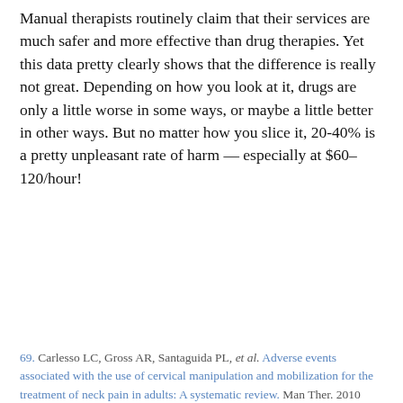Manual therapists routinely claim that their services are much safer and more effective than drug therapies. Yet this data pretty clearly shows that the difference is really not great. Depending on how you look at it, drugs are only a little worse in some ways, or maybe a little better in other ways. But no matter how you slice it, 20-40% is a pretty unpleasant rate of harm — especially at $60–120/hour!
69. Carlesso LC, Gross AR, Santaguida PL, et al. Adverse events associated with the use of cervical manipulation and mobilization for the treatment of neck pain in adults: A systematic review. Man Ther. 2010 Oct;15(5):434–444. PubMed #20227325
Never miss an update to PainScience.com
This site is HUGE! And often updated. The newsletter focusses on letting subscribers know what's new. 0–5 items/week depending on coffee intake & most posts are very short. Subscribe now or follow on Twitter or Facebook. Browse the archives.